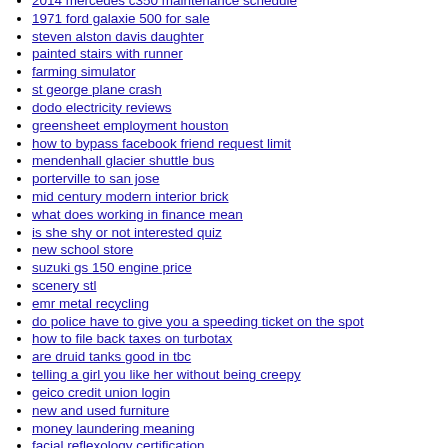2014 mercedes c350 maintenance schedule
1971 ford galaxie 500 for sale
steven alston davis daughter
painted stairs with runner
farming simulator
st george plane crash
dodo electricity reviews
greensheet employment houston
how to bypass facebook friend request limit
mendenhall glacier shuttle bus
porterville to san jose
mid century modern interior brick
what does working in finance mean
is she shy or not interested quiz
new school store
suzuki gs 150 engine price
scenery stl
emr metal recycling
do police have to give you a speeding ticket on the spot
how to file back taxes on turbotax
are druid tanks good in tbc
telling a girl you like her without being creepy
geico credit union login
new and used furniture
money laundering meaning
facial reflexology certification